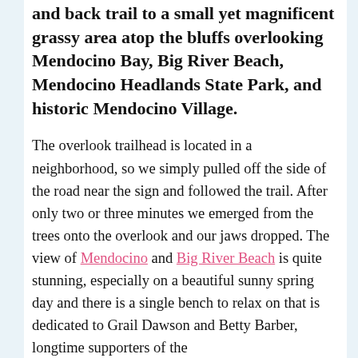and back trail to a small yet magnificent grassy area atop the bluffs overlooking Mendocino Bay, Big River Beach, Mendocino Headlands State Park, and historic Mendocino Village.
The overlook trailhead is located in a neighborhood, so we simply pulled off the side of the road near the sign and followed the trail. After only two or three minutes we emerged from the trees onto the overlook and our jaws dropped. The view of Mendocino and Big River Beach is quite stunning, especially on a beautiful sunny spring day and there is a single bench to relax on that is dedicated to Grail Dawson and Betty Barber, longtime supporters of the